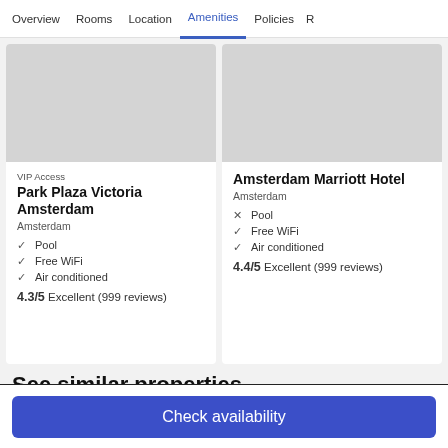Overview  Rooms  Location  Amenities  Policies  R
VIP Access
Park Plaza Victoria Amsterdam
Amsterdam
✓ Pool
✓ Free WiFi
✓ Air conditioned
4.3/5 Excellent (999 reviews)
Amsterdam Marriott Hotel
Amsterdam
× Pool
✓ Free WiFi
✓ Air conditioned
4.4/5 Excellent (999 reviews)
See similar properties
Check availability